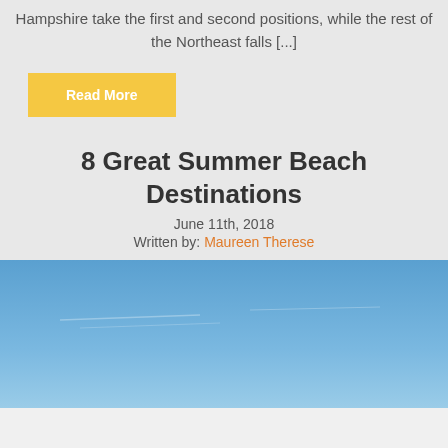Hampshire take the first and second positions, while the rest of the Northeast falls [...]
Read More
8 Great Summer Beach Destinations
June 11th, 2018
Written by: Maureen Therese
[Figure (photo): Beach scene with blue sky, wide landscape photo showing a coastal horizon]